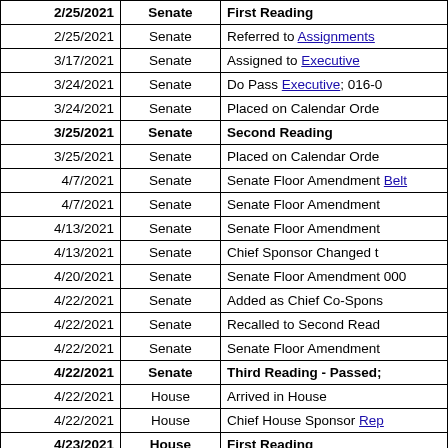| Date | Chamber | Action |
| --- | --- | --- |
| 2/25/2021 | Senate | First Reading |
| 2/25/2021 | Senate | Referred to Assignments |
| 3/17/2021 | Senate | Assigned to Executive |
| 3/24/2021 | Senate | Do Pass Executive; 016-0 |
| 3/24/2021 | Senate | Placed on Calendar Orde |
| 3/25/2021 | Senate | Second Reading |
| 3/25/2021 | Senate | Placed on Calendar Orde |
| 4/7/2021 | Senate | Senate Floor Amendment Belt |
| 4/7/2021 | Senate | Senate Floor Amendment |
| 4/13/2021 | Senate | Senate Floor Amendment |
| 4/13/2021 | Senate | Chief Sponsor Changed t |
| 4/20/2021 | Senate | Senate Floor Amendment 000 |
| 4/22/2021 | Senate | Added as Chief Co-Spons |
| 4/22/2021 | Senate | Recalled to Second Read |
| 4/22/2021 | Senate | Senate Floor Amendment |
| 4/22/2021 | Senate | Third Reading - Passed; |
| 4/22/2021 | House | Arrived in House |
| 4/22/2021 | House | Chief House Sponsor Rep |
| 4/23/2021 | House | First Reading |
| 4/23/2021 | House | Referred to Rules Commi |